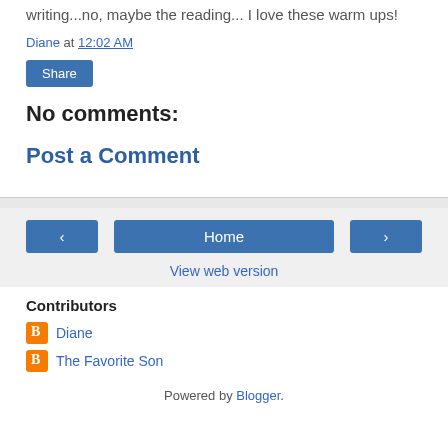writing...no, maybe the reading... I love these warm ups!
Diane at 12:02 AM
Share
No comments:
Post a Comment
Home
View web version
Contributors
Diane
The Favorite Son
Powered by Blogger.